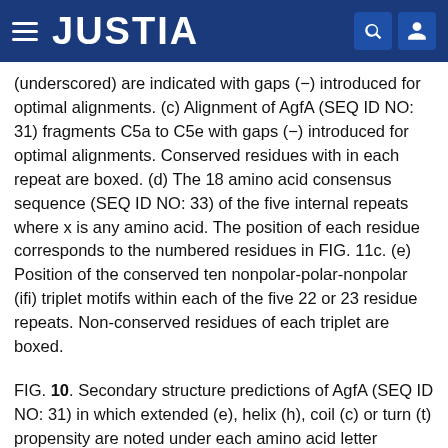JUSTIA
(underscored) are indicated with gaps (−) introduced for optimal alignments. (c) Alignment of AgfA (SEQ ID NO: 31) fragments C5a to C5e with gaps (−) introduced for optimal alignments. Conserved residues with in each repeat are boxed. (d) The 18 amino acid consensus sequence (SEQ ID NO: 33) of the five internal repeats where x is any amino acid. The position of each residue corresponds to the numbered residues in FIG. 11c. (e) Position of the conserved ten nonpolar-polar-nonpolar (ifi) triplet motifs within each of the five 22 or 23 residue repeats. Non-conserved residues of each triplet are boxed.
FIG. 10. Secondary structure predictions of AgfA (SEQ ID NO: 31) in which extended (e), helix (h), coil (c) or turn (t) propensity are noted under each amino acid letter designation. The programs Alexsis (alx), Hierarchial